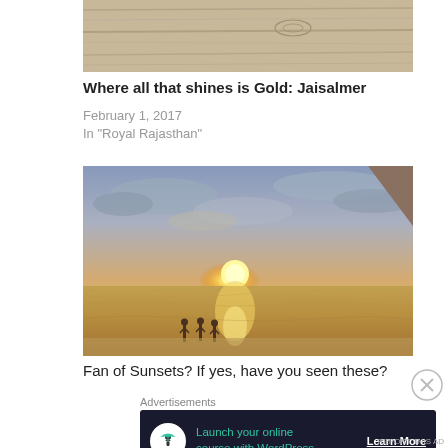[Figure (photo): Cropped top portion of a textured sandy/wood surface photo]
Where all that shines is Gold: Jaisalmer
February 1, 2017
In "Royal Rajasthan"
[Figure (photo): Sunset over a beach with silhouettes of people standing in shallow water and golden light reflecting on the wet sand]
Fan of Sunsets? If yes, have you seen these?
Advertisements
[Figure (infographic): Dark advertisement banner: icon of person under umbrella/tree on white circle, teal text: Launch your online course with WordPress, white underlined text: Learn More]